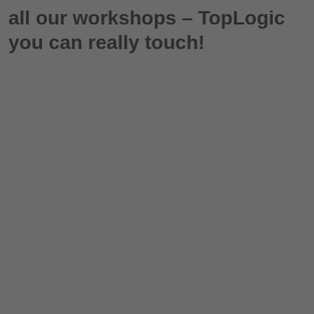all our workshops – TopLogic you can really touch!